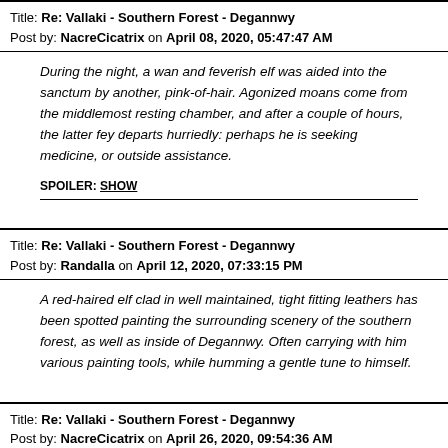Title: Re: Vallaki - Southern Forest - Degannwy
Post by: NacreCicatrix on April 08, 2020, 05:47:47 AM
During the night, a wan and feverish elf was aided into the sanctum by another, pink-of-hair. Agonized moans come from the middlemost resting chamber, and after a couple of hours, the latter fey departs hurriedly: perhaps he is seeking medicine, or outside assistance.
SPOILER: SHOW
Title: Re: Vallaki - Southern Forest - Degannwy
Post by: Randalla on April 12, 2020, 07:33:15 PM
A red-haired elf clad in well maintained, tight fitting leathers has been spotted painting the surrounding scenery of the southern forest, as well as inside of Degannwy. Often carrying with him various painting tools, while humming a gentle tune to himself.
Title: Re: Vallaki - Southern Forest - Degannwy
Post by: NacreCicatrix on April 26, 2020, 09:54:36 AM
As the appointed date for the festivities approaches, a white-